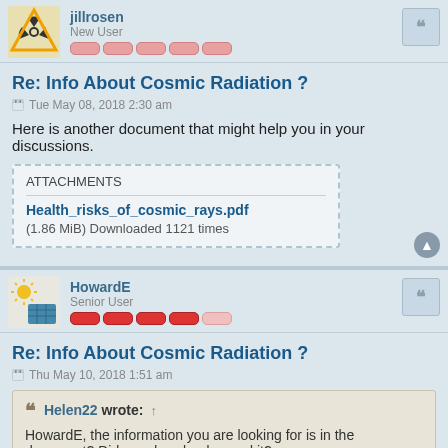jillrosen | New User
Re: Info About Cosmic Radiation ?
Tue May 08, 2018 2:30 am
Here is another document that might help you in your discussions.
ATTACHMENTS
Health_risks_of_cosmic_rays.pdf
(1.86 MiB) Downloaded 1121 times
HowardE | Senior User
Re: Info About Cosmic Radiation ?
Thu May 10, 2018 1:51 am
Helen22 wrote: ↑
HowardE, the information you are looking for is in the document? Did you download a read it?
Don't get all bent out of shape, I did read it and saw the info in there, I was